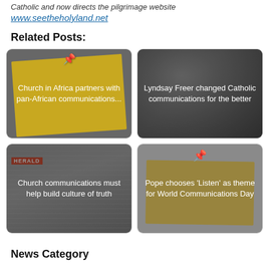Catholic and now directs the pilgrimage website
www.seetheholyland.net
Related Posts:
[Figure (illustration): Card with thumbtack and yellow sticky note: 'Church in Africa partners with pan-African communications...']
[Figure (photo): Photo of people, overlay text: 'Lyndsay Freer changed Catholic communications for the better']
[Figure (photo): Newspaper collage photo with HERALD label, overlay text: 'Church communications must help build culture of truth']
[Figure (illustration): Yellow sticky note with thumbtack, overlay text: 'Pope chooses Listen as theme for World Communications Day']
News Category